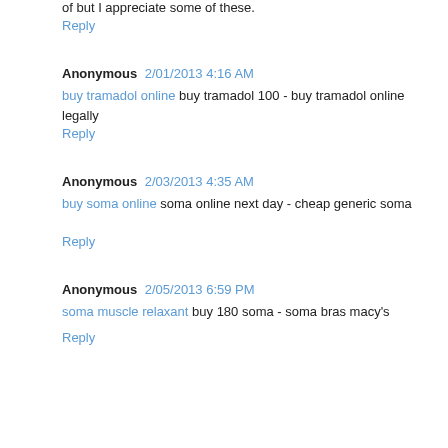of but I appreciate some of these.
Reply
Anonymous 2/01/2013 4:16 AM
buy tramadol online buy tramadol 100 - buy tramadol online legally
Reply
Anonymous 2/03/2013 4:35 AM
buy soma online soma online next day - cheap generic soma
Reply
Anonymous 2/05/2013 6:59 PM
soma muscle relaxant buy 180 soma - soma bras macy's
Reply